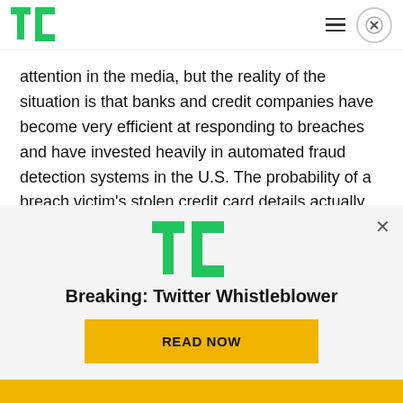TechCrunch header with logo, menu icon, and close button
attention in the media, but the reality of the situation is that banks and credit companies have become very efficient at responding to breaches and have invested heavily in automated fraud detection systems in the U.S. The probability of a breach victim's stolen credit card details actually resulting in a personal financial loss is practically negligible.
With widespread adoption of chip technology in
[Figure (screenshot): TechCrunch advertisement overlay with TC logo, headline 'Breaking: Twitter Whistleblower', and yellow READ NOW button]
Yellow footer bar